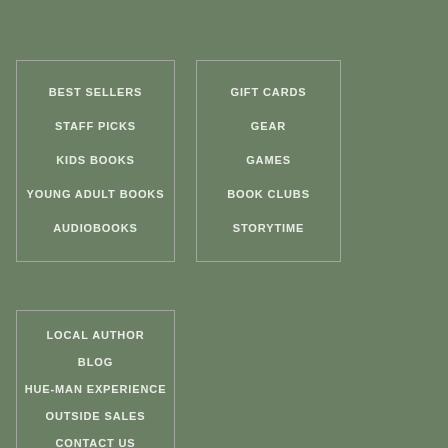BEST SELLERS
STAFF PICKS
KIDS BOOKS
YOUNG ADULT BOOKS
AUDIOBOOKS
GIFT CARDS
GEAR
GAMES
BOOK CLUBS
STORYTIME
LOCAL AUTHOR
BLOG
HUE-MAN EXPERIENCE
OUTSIDE SALES
CONTACT US